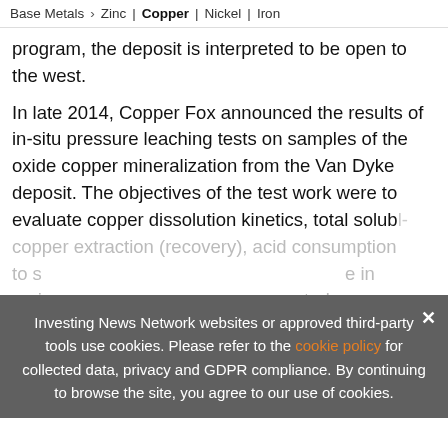Base Metals > Zinc | Copper | Nickel | Iron
program, the deposit is interpreted to be open to the west.
In late 2014, Copper Fox announced the results of in-situ pressure leaching tests on samples of the oxide copper mineralization from the Van Dyke deposit. The objectives of the test work were to evaluate copper dissolution kinetics, total solub'- copper extraction (recovery), acid consumption to s___ ___ ___e in an i___ ___ated ___
[Figure (infographic): Advertisement banner: UPDATED! 2022 Copper Outlook Report - TOP COPPER Stocks, Trends, Expert Forecasts. INN branding with Copper Outlook 2022 book cover image.]
Investing News Network websites or approved third-party tools use cookies. Please refer to the cookie policy for collected data, privacy and GDPR compliance. By continuing to browse the site, you agree to our use of cookies.